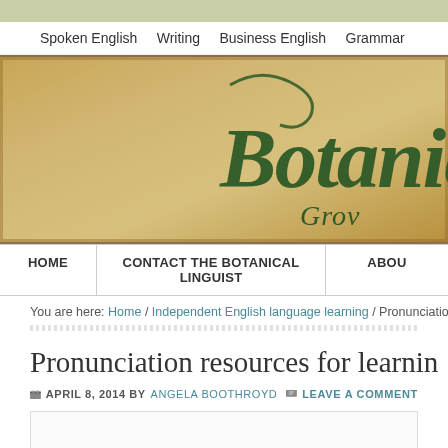Spoken English   Writing   Business English   Grammar
[Figure (illustration): Banner image with parchment/aged paper texture background in warm tan/gold tones. Shows partial cursive script text reading 'Botanica' and below it 'Grov' in dark green decorative fonts.]
HOME   CONTACT THE BOTANICAL LINGUIST   ABOU
You are here: Home / Independent English language learning / Pronunciation res
Pronunciation resources for learnin
APRIL 8, 2014 BY ANGELA BOOTHROYD   LEAVE A COMMENT